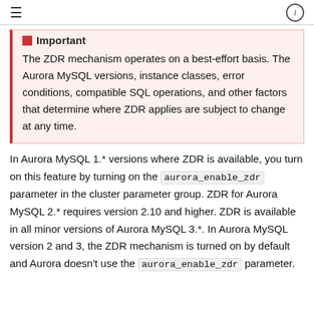≡   ℹ
Important
The ZDR mechanism operates on a best-effort basis. The Aurora MySQL versions, instance classes, error conditions, compatible SQL operations, and other factors that determine where ZDR applies are subject to change at any time.
In Aurora MySQL 1.* versions where ZDR is available, you turn on this feature by turning on the aurora_enable_zdr parameter in the cluster parameter group. ZDR for Aurora MySQL 2.* requires version 2.10 and higher. ZDR is available in all minor versions of Aurora MySQL 3.*. In Aurora MySQL version 2 and 3, the ZDR mechanism is turned on by default and Aurora doesn't use the aurora_enable_zdr parameter.